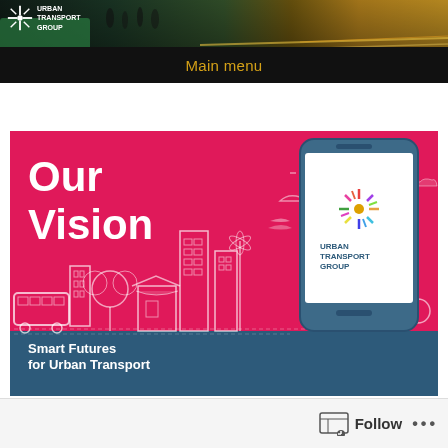[Figure (photo): Urban street scene header photo showing pedestrians and traffic with motion blur, dark tones with warm amber lighting]
URBAN TRANSPORT GROUP
Main menu
[Figure (illustration): Our Vision - Smart Futures for Urban Transport. Pink/magenta banner with white city skyline silhouette illustration, a smartphone showing Urban Transport Group logo, and text 'Our Vision' and 'Smart Futures for Urban Transport' on a teal/dark blue footer band.]
Follow •••